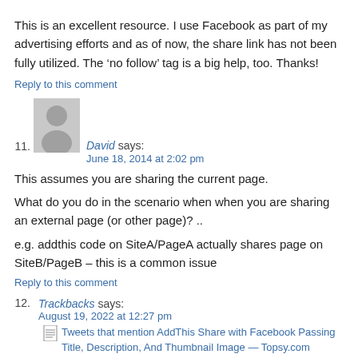This is an excellent resource. I use Facebook as part of my advertising efforts and as of now, the share link has not been fully utilized. The ‘no follow’ tag is a big help, too. Thanks!
Reply to this comment
[Figure (illustration): Generic avatar silhouette icon, grey placeholder person image]
11. David says: June 18, 2014 at 2:02 pm
This assumes you are sharing the current page.

What do you do in the scenario when when you are sharing an external page (or other page)? ..

e.g. addthis code on SiteA/PageA actually shares page on SiteB/PageB – this is a common issue
Reply to this comment
12. Trackbacks says: August 19, 2022 at 12:27 pm
Tweets that mention AddThis Share with Facebook Passing Title, Description, And Thumbnail Image — Topsy.com
Reply to this comment